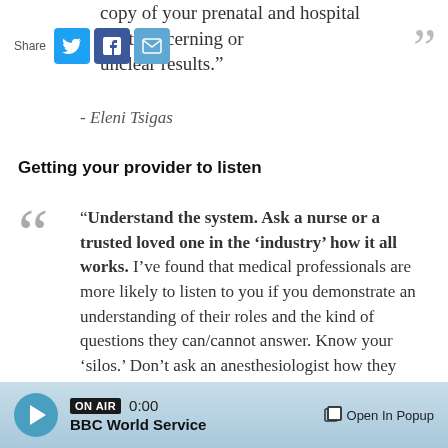copy of your prenatal and hospital bout concerning or unclear results.”
- Eleni Tsigas
Getting your provider to listen
“Understand the system. Ask a nurse or a trusted loved one in the ‘industry’ how it all works. I’ve found that medical professionals are more likely to listen to you if you demonstrate an understanding of their roles and the kind of questions they can/cannot answer. Know your ‘silos.’ Don’t ask an anesthesiologist how they
[Figure (screenshot): Audio player bar at bottom showing ON AIR badge, time 0:00, BBC World Service label, play button, and Open In Popup link]